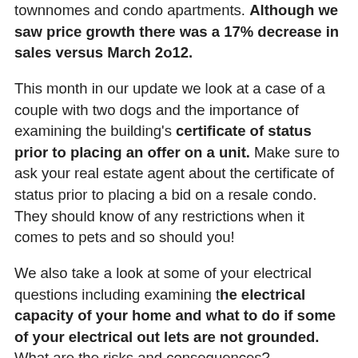townnomes and condo apartments. Although we saw price growth there was a 17% decrease in sales versus March 2o12.
This month in our update we look at a case of a couple with two dogs and the importance of examining the building's certificate of status prior to placing an offer on a unit. Make sure to ask your real estate agent about the certificate of status prior to placing a bid on a resale condo. They should know of any restrictions when it comes to pets and so should you!
We also take a look at some of your electrical questions including examining the electrical capacity of your home and what to do if some of your electrical out lets are not grounded. What are the risks and consequences?
Lastly, and as always we have the popular Pearls of Wisdom. Here is a preview: “Here’s something to think about: how come you never see a headline like ‘Psychic